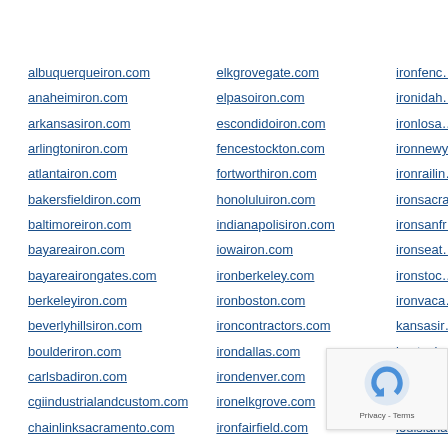albuquerqueiron.com
anaheimiron.com
arkansasiron.com
arlingtoniron.com
atlantairon.com
bakersfieldiron.com
baltimoreiron.com
bayareairon.com
bayareairongates.com
berkeleyiron.com
beverlyhillsiron.com
boulderiron.com
carlsbadiron.com
cgiindustrialandcustom.com
chainlinksacramento.com
charlotteiron.com
chulavistairon.com
clevelandiron.com
coloradoiron.com
elkgrovegate.com
elpasoiron.com
escondidoiron.com
fencestockton.com
fortworthiron.com
honoluluiron.com
indianapolisiron.com
iowairon.com
ironberkeley.com
ironboston.com
ironcontractors.com
irondallas.com
irondenver.com
ironelkgrove.com
ironfairfield.com
ironfencesacramento.com
ironfencesandiego.com
ironfencingsacramento.com
irongatesacramento.com
ironfenc…
ironidah…
ironlosa…
ironnewy…
ironrailin…
ironsacra…
ironsanfr…
ironseat…
ironstoc…
ironvaca…
kansasir…
kentucky…
longbea…
losangel…
louisiana…
massas…